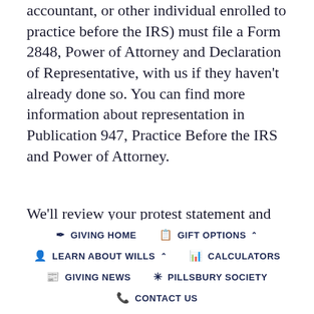accountant, or other individual enrolled to practice before the IRS) must file a Form 2848, Power of Attorney and Declaration of Representative, with us if they haven't already done so. You can find more information about representation in Publication 947, Practice Before the IRS and Power of Attorney.
We'll review your protest statement and decide if you gave us a basis to reconsider our
GIVING HOME | GIFT OPTIONS ^ | LEARN ABOUT WILLS ^ | CALCULATORS | GIVING NEWS | PILLSBURY SOCIETY | CONTACT US